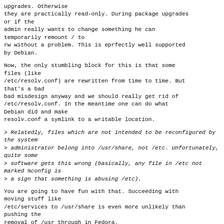upgrades. Otherwise
they are practically read-only. During package upgrades
or if the
admin really wants to change something he can
temporarily remount / to
rw without a problem. This is eprfectly well supported
by Debian.
Now, the only stumbling block for this is that some
files (like
/etc/resolv.conf) are rewritten from time to time. But
that's a bad
bad misdesign anyway and we should really get rid of
/etc/resolv.conf. In the meantime one can do what
Debian did and make
resolv.conf a symlink to a writable location.
> Relatedly, files which are not intended to be reconfigured by the system
> administrator belong into /usr/share, not /etc. Unfortunately, quite some
> software gets this wrong (basically, any file in /etc not marked %config is
> a sign that something is abusing /etc).
You are going to have fun with that. Succeeding with
moving stuff like
/etc/services to /usr/share is even more unlikely than
pushing the
removal of /usr through in Fedora.